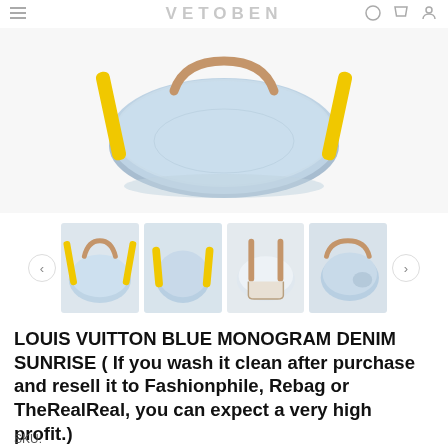VETOBEN
[Figure (photo): Product image gallery showing four views of a Louis Vuitton Blue Monogram Denim Sunrise bag. The bag is a rounded denim bag with yellow straps and tan/brown leather trim, shown from different angles including front, side, back, and three-quarter views.]
LOUIS VUITTON BLUE MONOGRAM DENIM SUNRISE ( If you wash it clean after purchase and resell it to Fashionphile, Rebag or TheRealReal, you can expect a very high profit.)
SKU: